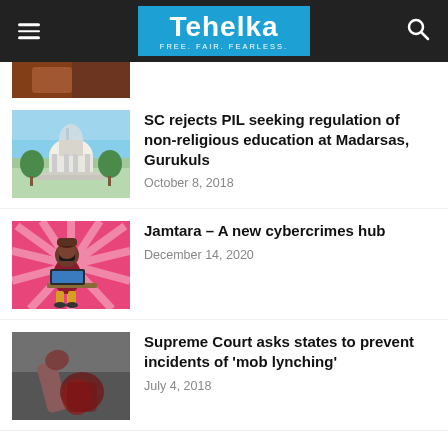Tehelka — FREE. FAIR. FEARLESS.
[Figure (photo): Partial cropped photo at top left, dark tones]
SC rejects PIL seeking regulation of non-religious education at Madarsas, Gurukuls
October 8, 2018
Jamtara – A new cybercrimes hub
December 14, 2020
Supreme Court asks states to prevent incidents of 'mob lynching'
July 4, 2018
Load more
HOT NEWS